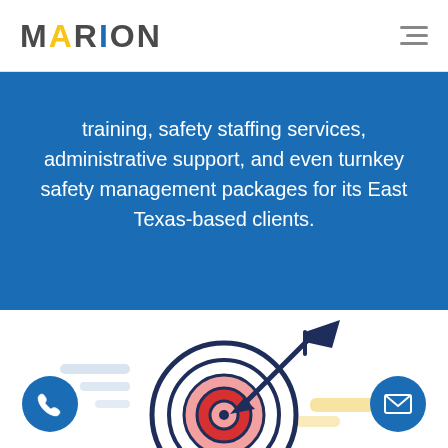MARION
training, safety staffing services, administrative support, and even turnkey safety management packages for its East Texas-based clients.
[Figure (illustration): Target/bullseye illustration with an arrow hitting the center, decorative speed lines and shapes in light blue and yellow, used as a section graphic.]